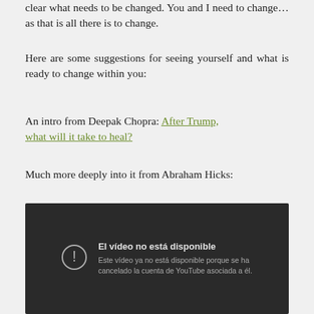clear what needs to be changed. You and I need to change… as that is all there is to change.
Here are some suggestions for seeing yourself and what is ready to change within you:
An intro from Deepak Chopra: After Trump, what will it take to heal?
Much more deeply into it from Abraham Hicks:
[Figure (screenshot): Embedded YouTube video player showing error message: 'El vídeo no está disponible. Este vídeo ya no está disponible porque se ha cancelado la cuenta de YouTube asociada a él.']